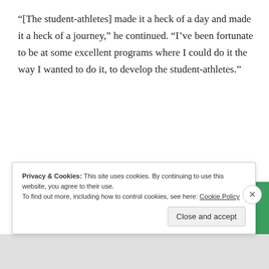“[The student-athletes] made it a heck of a day and made it a heck of a journey,” he continued. “I’ve been fortunate to be at some excellent programs where I could do it the way I wanted to do it, to develop the student-athletes.”
[Figure (screenshot): Advertisement for a content analytics product showing a woman in a green top and the text 'Content Analytics Made Easy' with a green button below.]
Privacy & Cookies: This site uses cookies. By continuing to use this website, you agree to their use.
To find out more, including how to control cookies, see here: Cookie Policy
Close and accept